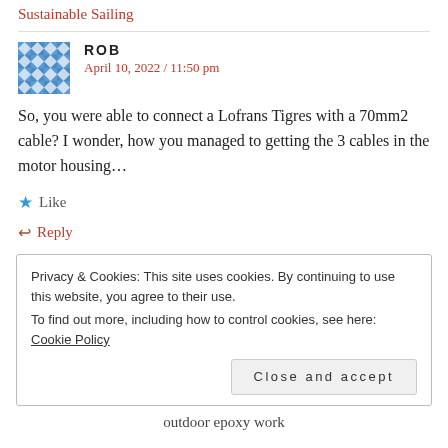Sustainable Sailing
ROB
April 10, 2022 / 11:50 pm
So, you were able to connect a Lofrans Tigres with a 70mm2 cable? I wonder, how you managed to getting the 3 cables in the motor housing...
★ Like
↩ Reply
Privacy & Cookies: This site uses cookies. By continuing to use this website, you agree to their use.
To find out more, including how to control cookies, see here: Cookie Policy
Close and accept
outdoor epoxy work